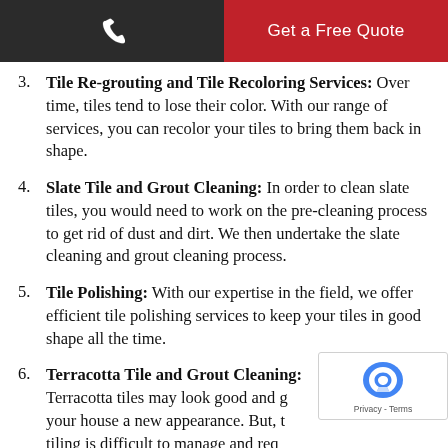Get a Free Quote
3. Tile Re-grouting and Tile Recoloring Services: Over time, tiles tend to lose their color. With our range of services, you can recolor your tiles to bring them back in shape.
4. Slate Tile and Grout Cleaning: In order to clean slate tiles, you would need to work on the pre-cleaning process to get rid of dust and dirt. We then undertake the slate cleaning and grout cleaning process.
5. Tile Polishing: With our expertise in the field, we offer efficient tile polishing services to keep your tiles in good shape all the time.
6. Terracotta Tile and Grout Cleaning: Terracotta tiles may look good and give your house a new appearance. But, the tiling is difficult to manage and requires...